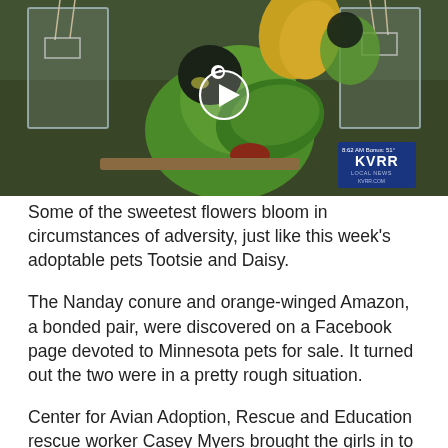[Figure (photo): Video thumbnail showing two parrots (a Nanday conure and an orange-winged Amazon) inside clear plastic containers/cages. A play button (white circle with triangle) is centered on the image. A KVRR Local News bug appears in the lower right corner with time stamp.]
Some of the sweetest flowers bloom in circumstances of adversity, just like this week's adoptable pets Tootsie and Daisy.
The Nanday conure and orange-winged Amazon, a bonded pair, were discovered on a Facebook page devoted to Minnesota pets for sale. It turned out the two were in a pretty rough situation.
Center for Avian Adoption, Rescue and Education rescue worker Casey Myers brought the girls in to